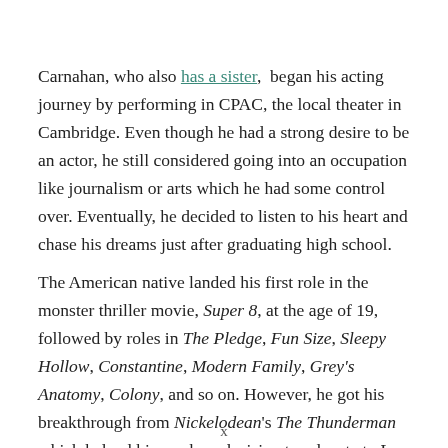Carnahan, who also has a sister, began his acting journey by performing in CPAC, the local theater in Cambridge. Even though he had a strong desire to be an actor, he still considered going into an occupation like journalism or arts which he had some control over. Eventually, he decided to listen to his heart and chase his dreams just after graduating high school.
The American native landed his first role in the monster thriller movie, Super 8, at the age of 19, followed by roles in The Pledge, Fun Size, Sleepy Hollow, Constantine, Modern Family, Grey's Anatomy, Colony, and so on. However, he got his breakthrough from Nickelodean's The Thunderman which helped him make a decision to relocate to Los Angeles, the acting hub for emerging stars.
x